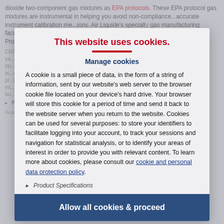dioxide two-component gas mixtures as EPA protocols. These EPA protocol gas mixtures are instrumental in helping you avoid non-compliance ...accurate instrument calibration measurements. Air Liquide's specialty gas manufacturing facilities...participants of EPA's Protocol Gas Verification Program (PGVP). Protocol standards ...calibrations. Certificates...
This website uses cookies.
Manage cookies
A cookie is a small piece of data, in the form of a string of information, sent by our website's web server to the browser cookie file located on your device's hard drive. Your browser will store this cookie for a period of time and send it back to the website server when you return to the website. Cookies can be used for several purposes: to store your identifiers to facilitate logging into your account, to track your sessions and navigation for statistical analysis, or to identify your areas of interest in order to provide you with relevant content. To learn more about cookies, please consult our cookie and personal data protection policy.
Product Specifications
Allow all cookies & proceed